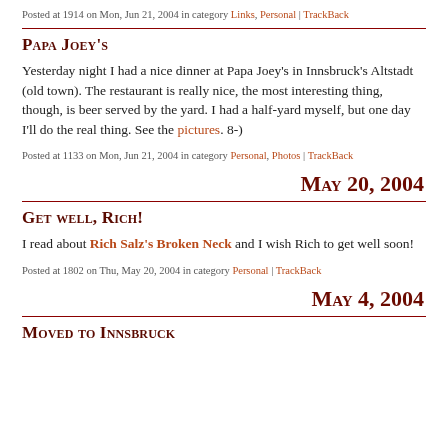Posted at 1914 on Mon, Jun 21, 2004 in category Links, Personal | TrackBack
Papa Joey's
Yesterday night I had a nice dinner at Papa Joey's in Innsbruck's Altstadt (old town). The restaurant is really nice, the most interesting thing, though, is beer served by the yard. I had a half-yard myself, but one day I'll do the real thing. See the pictures. 8-)
Posted at 1133 on Mon, Jun 21, 2004 in category Personal, Photos | TrackBack
May 20, 2004
Get well, Rich!
I read about Rich Salz's Broken Neck and I wish Rich to get well soon!
Posted at 1802 on Thu, May 20, 2004 in category Personal | TrackBack
May 4, 2004
Moved to Innsbruck